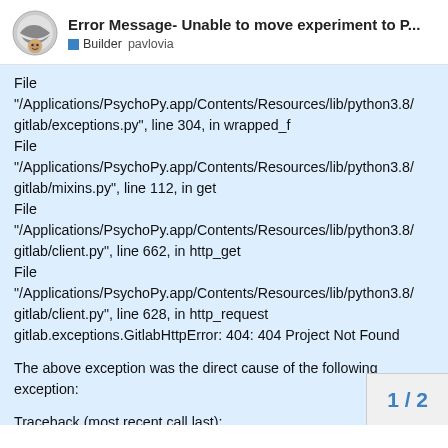Error Message- Unable to move experiment to P...
File "/Applications/PsychoPy.app/Contents/Resources/lib/python3.8/gitlab/exceptions.py", line 304, in wrapped_f
File "/Applications/PsychoPy.app/Contents/Resources/lib/python3.8/gitlab/mixins.py", line 112, in get
File "/Applications/PsychoPy.app/Contents/Resources/lib/python3.8/gitlab/client.py", line 662, in http_get
File "/Applications/PsychoPy.app/Contents/Resources/lib/python3.8/gitlab/client.py", line 628, in http_request
gitlab.exceptions.GitlabHttpError: 404: 404 Project Not Found

The above exception was the direct cause of the following exception:

Traceback (most recent call last):
File
1 / 2